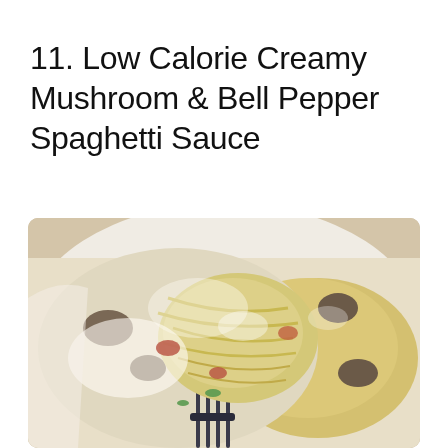11. Low Calorie Creamy Mushroom & Bell Pepper Spaghetti Sauce
[Figure (photo): Close-up photo of creamy mushroom and bell pepper spaghetti sauce twirled on a fork, showing pasta strands coated in white cream sauce with visible mushroom pieces, bell pepper, and green herbs, served in a white bowl.]